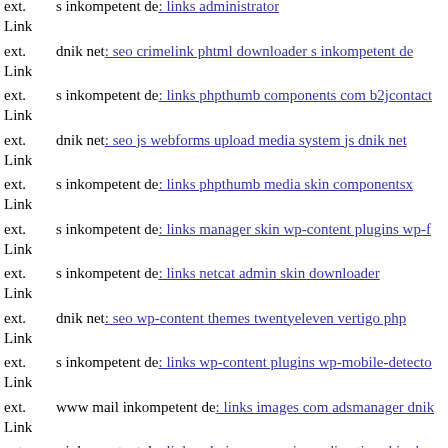ext. Link s inkompetent de: links administrator
ext. Link dnik net: seo crimelink phtml downloader s inkompetent de
ext. Link s inkompetent de: links phpthumb components com b2jcontact
ext. Link dnik net: seo js webforms upload media system js dnik net
ext. Link s inkompetent de: links phpthumb media skin componentsx
ext. Link s inkompetent de: links manager skin wp-content plugins wp-f
ext. Link s inkompetent de: links netcat admin skin downloader
ext. Link dnik net: seo wp-content themes twentyeleven vertigo php
ext. Link s inkompetent de: links wp-content plugins wp-mobile-detector
ext. Link www mail inkompetent de: links images com adsmanager dnik
ext. Link s inkompetent de: links admin cms wysiwyg directive skin dow
ext. www s inkompetent de: links manager skin wp-content plugins